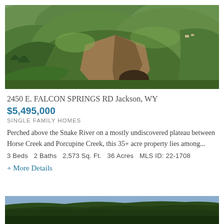[Figure (photo): Aerial photograph of green rolling hills and rocky cliffs above the Snake River, Jackson WY area]
2450 E. FALCON SPRINGS RD Jackson, WY
$5,495,000
SINGLE FAMILY HOMES
Perched above the Snake River on a mostly undiscovered plateau between Horse Creek and Porcupine Creek, this 35+ acre property lies among...
3 Beds  2 Baths  2,573 Sq. Ft.  36 Acres  MLS ID: 22-1708
+ More Details
[Figure (photo): Aerial landscape photograph of forested ridge and hills, partial view at bottom of page]